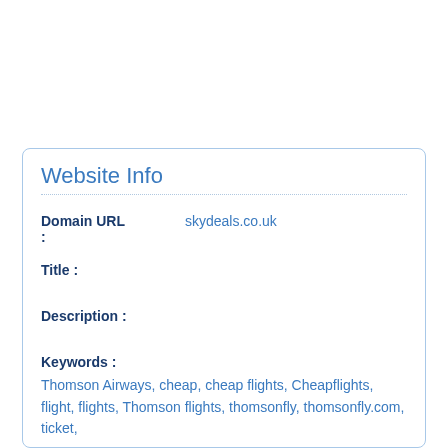Website Info
Domain URL : skydeals.co.uk
Title :
Description :
Keywords :
Thomson Airways, cheap, cheap flights, Cheapflights, flight, flights, Thomson flights, thomsonfly, thomsonfly.com, ticket,